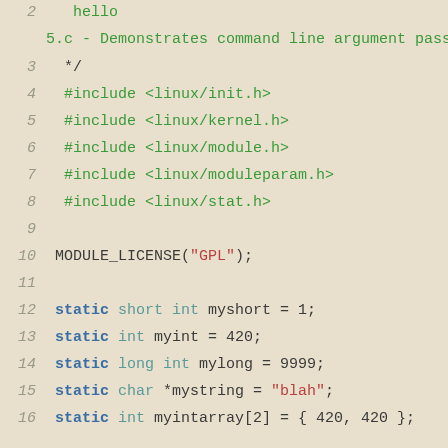2    hello
5.c - Demonstrates command line argument passing
3    */
4    #include <linux/init.h>
5    #include <linux/kernel.h>
6    #include <linux/module.h>
7    #include <linux/moduleparam.h>
8    #include <linux/stat.h>
9
10   MODULE_LICENSE("GPL");
11
12   static short int myshort = 1;
13   static int myint = 420;
14   static long int mylong = 9999;
15   static char *mystring = "blah";
16   static int myintarray[2] = { 420, 420 };